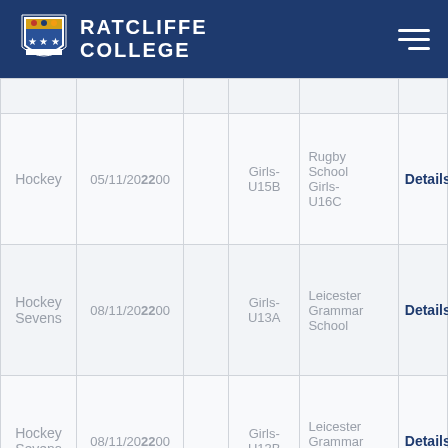Ratcliffe College
| Sport | Date | Time | Team | Opponent |  |
| --- | --- | --- | --- | --- | --- |
|  |  |  |  |  |  |
| Hockey | 05/11/2022 | 00 | Girls-U15B | Rugby School Girls-U16C | Details |
| Hockey Sevens | 08/11/2022 | 00 | Girls-U13A | Leicester Grammar School | Details |
| Hockey Sevens | 08/11/2022 | 00 | Girls-U13B | Leicester Grammar School | Details |